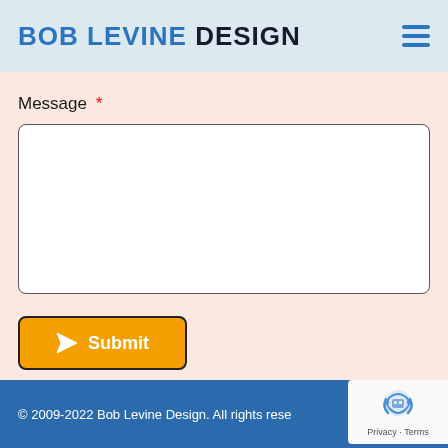BOB LEVINE DESIGN
Message *
[Figure (screenshot): Empty textarea input field with white background, black border, rounded corners]
[Figure (other): Orange Submit button with paper plane icon and white text]
© 2009-2022 Bob Levine Design. All rights rese
[Figure (logo): Google reCAPTCHA badge with robot icon and Privacy - Terms links]